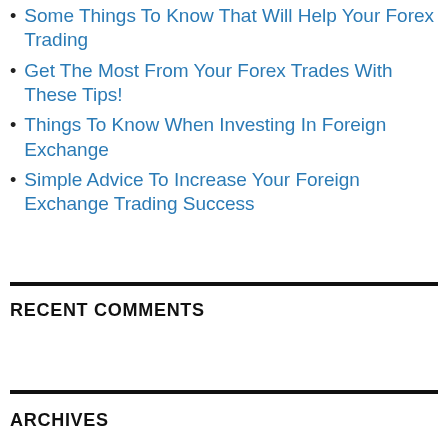Some Things To Know That Will Help Your Forex Trading
Get The Most From Your Forex Trades With These Tips!
Things To Know When Investing In Foreign Exchange
Simple Advice To Increase Your Foreign Exchange Trading Success
RECENT COMMENTS
ARCHIVES